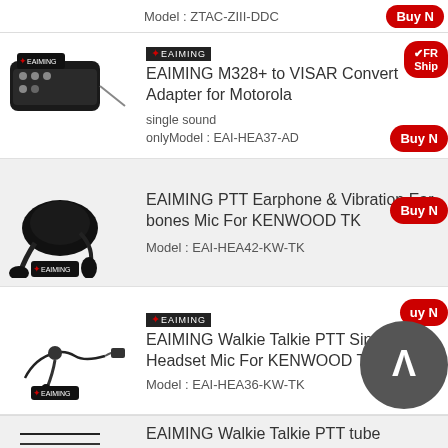Model : ZTAC-ZIII-DDC
EAIMING M328+ to VISAR Convert Adapter for Motorola
single sound onlyModel : EAI-HEA37-AD
EAIMING PTT Earphone & Vibration Ear bones Mic For KENWOOD TK
Model : EAI-HEA42-KW-TK
EAIMING Walkie Talkie PTT Single Headset Mic For KENWOOD TK
Model : EAI-HEA36-KW-TK
EAIMING Walkie Talkie PTT tube Earphone & Mic